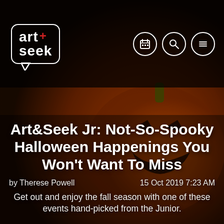[Figure (photo): Halloween-themed background photo showing a jack-o-lantern pumpkin in orange tones with dark overlay]
art+seek (logo) with navigation icons for calendar, search, and menu
Art&Seek Jr: Not-So-Spooky Halloween Happenings You Won't Want To Miss
by Therese Powell   15 Oct 2019 7:23 AM
Get out and enjoy the fall season with one of these events hand-picked from the Junior.